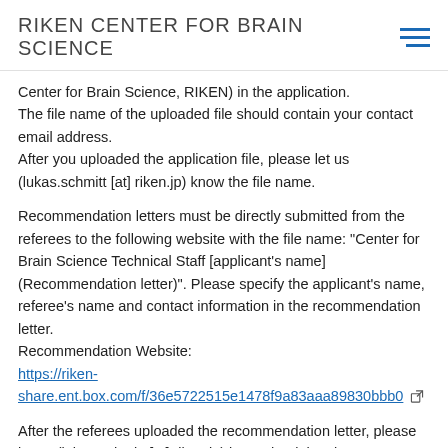RIKEN CENTER FOR BRAIN SCIENCE
Center for Brain Science, RIKEN) in the application.
The file name of the uploaded file should contain your contact email address.
After you uploaded the application file, please let us (lukas.schmitt [at] riken.jp) know the file name.
Recommendation letters must be directly submitted from the referees to the following website with the file name: "Center for Brain Science Technical Staff [applicant's name] (Recommendation letter)". Please specify the applicant's name, referee's name and contact information in the recommendation letter.
Recommendation Website:
https://riken-share.ent.box.com/f/36e5722515e1478f9a83aaa89830bbb0
After the referees uploaded the recommendation letter, please let us (lukas.schmitt [at] riken.jp) know that it has been submitted.
If a confirmation email is not received within 7 days after